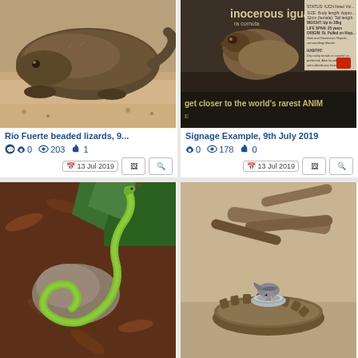[Figure (photo): Close-up photo of a Rio Fuerte beaded lizard resting on sandy ground]
Rio Fuerte beaded lizards, 9...
0 comments, 203 views, 1 like
13 Jul 2019
[Figure (photo): Photo of a rhinoceros iguana statue or exhibit with signage reading 'inocerous iguana' and 'get closer to the world's rarest animals']
Signage Example, 9th July 2019
0 comments, 178 views, 0 likes
13 Jul 2019
[Figure (photo): Photo of a green snake coiled on a rock among brown wood chips and green foliage]
[Figure (photo): Photo of a bird drinking from a small metal bowl on a wooden platform in a sandy enclosure with logs]